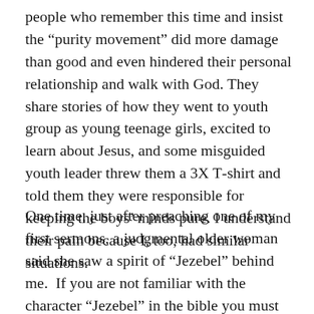people who remember this time and insist the “purity movement” did more damage than good and even hindered their personal relationship and walk with God. They share stories of how they went to youth group as young teenage girls, excited to learn about Jesus, and some misguided youth leader threw them a 3X T-shirt and told them they were responsible for keeping the boys’ minds pure. I understand their pain because I, too, had similar situations.
One time, just after preaching one of my first sermons, a judgmental older woman said she saw a spirit of “Jezebel” behind me.  If you are not familiar with the character “Jezebel” in the bible you must not have been a girl on fire for